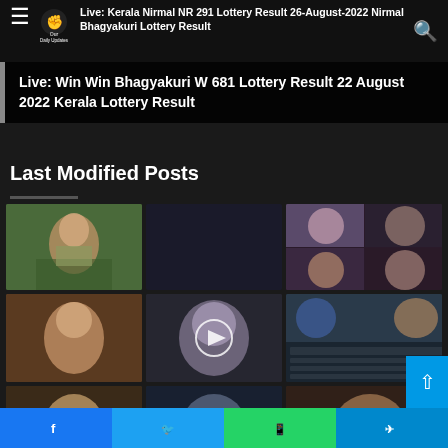Live: Kerala Nirmal NR 291 Lottery Result 26-August-2022 Nirmal Bhagyakuri Lottery Result
Live: Win Win Bhagyakuri W 681 Lottery Result 22 August 2022 Kerala Lottery Result
Last Modified Posts
[Figure (photo): Grid of thumbnail images for various posts]
Facebook | Twitter | WhatsApp | Telegram social share bar